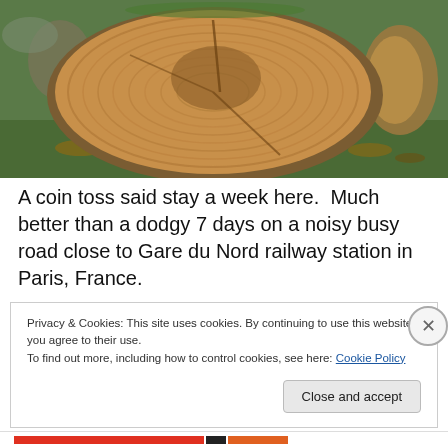[Figure (photo): A large cross-sectioned tree trunk log lying on the ground in a forest, showing wood grain rings. Other logs visible in background, surrounded by green grass and fallen leaves.]
A coin toss said stay a week here.  Much better than a dodgy 7 days on a noisy busy road close to Gare du Nord railway station in Paris, France.
Privacy & Cookies: This site uses cookies. By continuing to use this website, you agree to their use.
To find out more, including how to control cookies, see here: Cookie Policy
Close and accept